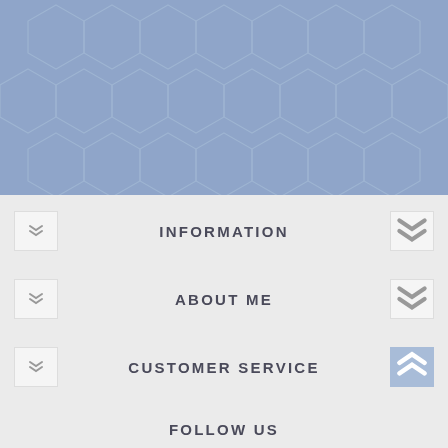[Figure (illustration): Blue-grey hexagonal honeycomb pattern background covering the top portion of the page]
INFORMATION
ABOUT ME
CUSTOMER SERVICE
FOLLOW US